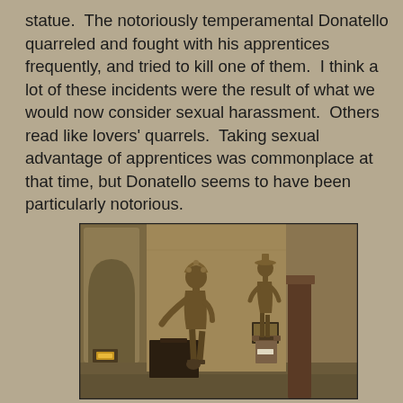statue.  The notoriously temperamental Donatello quarreled and fought with his apprentices frequently, and tried to kill one of them.  I think a lot of these incidents were the result of what we would now consider sexual harassment.  Others read like lovers' quarrels.  Taking sexual advantage of apprentices was commonplace at that time, but Donatello seems to have been particularly notorious.
[Figure (photo): Museum interior photograph showing two bronze statues of David by Donatello displayed in a gallery room with warm golden-brown walls. The larger statue stands in the foreground left, the smaller one on a pedestal to the right. Dark wooden furniture and interior architectural elements visible in the background.]